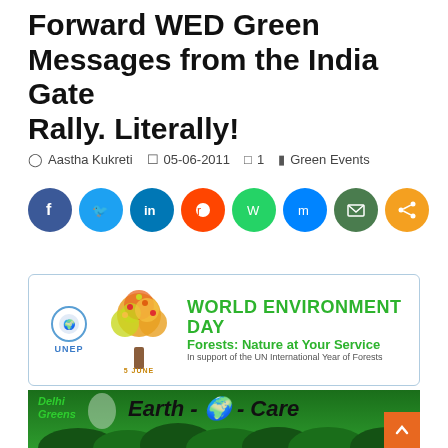Forward WED Green Messages from the India Gate Rally. Literally!
Aastha Kukreti   05-06-2011   1   Green Events
[Figure (infographic): Social media share buttons: Facebook, Twitter, LinkedIn, Reddit, WhatsApp, Messenger, Email, Share. Share count: 13]
[Figure (illustration): World Environment Day banner: UNEP logo, decorative tree with 5 June label, text 'WORLD ENVIRONMENT DAY Forests: Nature at Your Service In support of the UN International Year of Forests']
[Figure (illustration): Delhi Greens Earth-Care banner with green forest background, fingerprint egg logo, globe, and Earth-Care text. Orange scroll-to-top button at bottom right.]